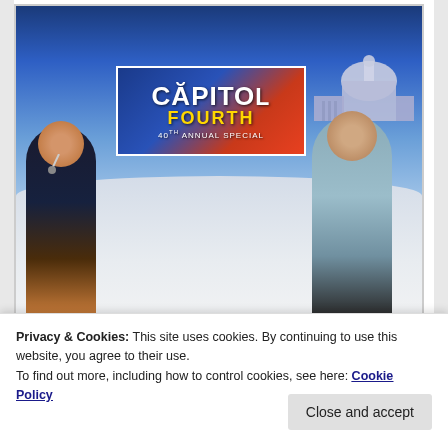[Figure (photo): A television screen showing the PBS 'Capitol Fourth' special, hosted by Vanessa Williams (woman in black dress on left, holding microphone) and John Stamos (man in grey suit on right). The 'Capitol Fourth' logo is visible on screen with the US Capitol building in the background. The TV has a dark bezel with brand text at the bottom.]
— Hosted by Vanessa Williams and John Stamos
[Figure (screenshot): Partial view of another image/video strip showing 'Previously Recorded' text on a blue banner.]
Privacy & Cookies: This site uses cookies. By continuing to use this website, you agree to their use.
To find out more, including how to control cookies, see here: Cookie Policy